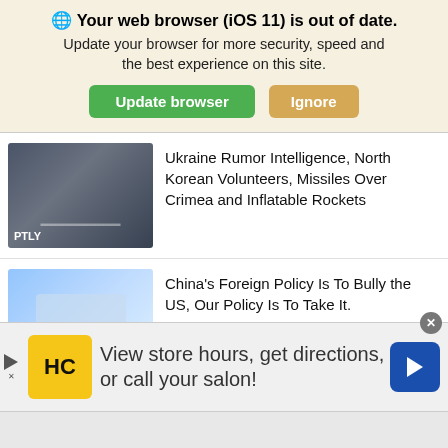Your web browser (iOS 11) is out of date. Update your browser for more security, speed and the best experience on this site.
Ukraine Rumor Intelligence, North Korean Volunteers, Missiles Over Crimea and Inflatable Rockets
China's Foreign Policy Is To Bully the US, Our Policy Is To Take It.
Read this Translation of an Interview with General Kryvonos of Ukraine's Special Forces
[Figure (screenshot): Advertisement banner: View store hours, get directions, or call your salon! with HC logo and navigation arrow]